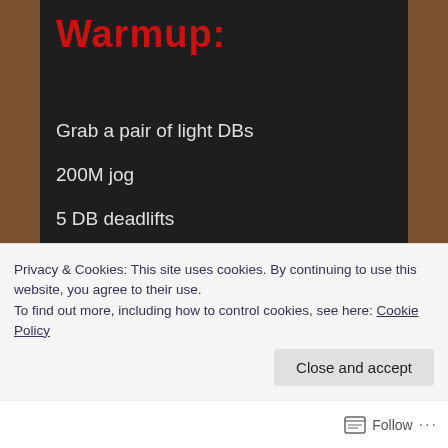Warmup:
Grab a pair of light DBs
200M jog
5 DB deadlifts
5 dip/shrug with DBs
5 hang power cleans
5 push ups on top of DBs
Privacy & Cookies: This site uses cookies. By continuing to use this website, you agree to their use.
To find out more, including how to control cookies, see here: Cookie Policy
Close and accept
Follow ...